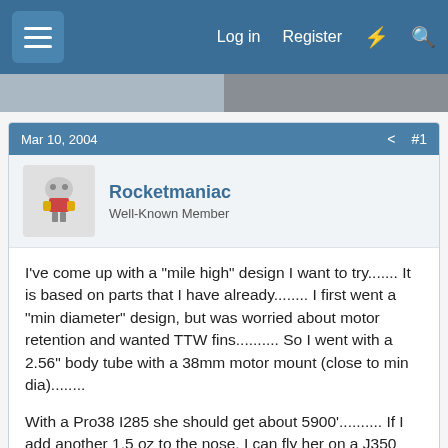Log in  Register
Mar 10, 2004  #1
Rocketmaniac
Well-Known Member
I've come up with a "mile high" design I want to try....... It is based on parts that I have already........ I first went a "min diameter" design, but was worried about motor retention and wanted TTW fins.......... So I went with a 2.56" body tube with a 38mm motor mount (close to min dia)........
With a Pro38 I285 she should get about 5900'.......... If I add another 1.5 oz to the nose, I can fly her on a J350 and get about 6900' or an ellis J330 and get about 7800' (are the elllis J330 easily to find?)